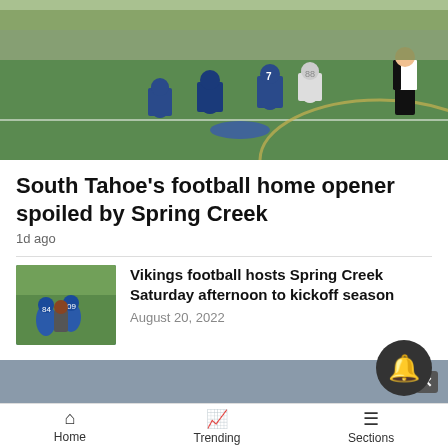[Figure (photo): Football game action photo showing players in blue uniforms on a green field, with a referee visible on the right side]
South Tahoe's football home opener spoiled by Spring Creek
1d ago
[Figure (photo): Thumbnail photo of Vikings football players in blue helmets on a field]
Vikings football hosts Spring Creek Saturday afternoon to kickoff season
August 20, 2022
Home  Trending  Sections